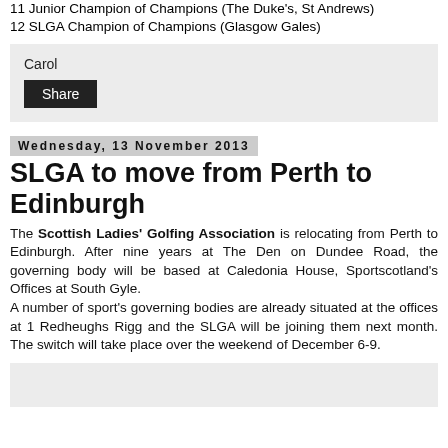11 Junior Champion of Champions (The Duke's, St Andrews)
12 SLGA Champion of Champions (Glasgow Gales)
Carol
Share
Wednesday, 13 November 2013
SLGA to move from Perth to Edinburgh
The Scottish Ladies' Golfing Association is relocating from Perth to Edinburgh. After nine years at The Den on Dundee Road, the governing body will be based at Caledonia House, Sportscotland's Offices at South Gyle. A number of sport's governing bodies are already situated at the offices at 1 Redheughs Rigg and the SLGA will be joining them next month. The switch will take place over the weekend of December 6-9.